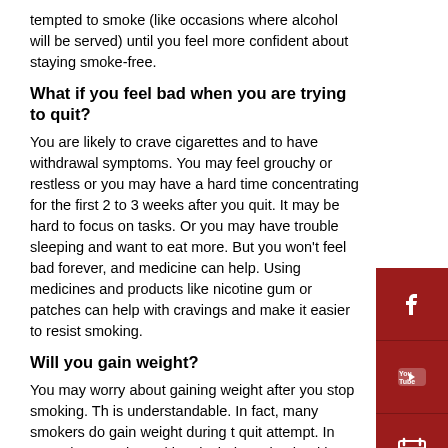tempted to smoke (like occasions where alcohol will be served) until you feel more confident about staying smoke-free.
What if you feel bad when you are trying to quit?
You are likely to crave cigarettes and to have withdrawal symptoms. You may feel grouchy or restless or you may have a hard time concentrating for the first 2 to 3 weeks after you quit. It may be hard to focus on tasks. Or you may have trouble sleeping and want to eat more. But you won't feel bad forever, and medicine can help. Using medicines and products like nicotine gum or patches can help with cravings and make it easier to resist smoking.
Will you gain weight?
You may worry about gaining weight after you stop smoking. This is understandable. In fact, many smokers do gain weight during their quit attempt. In your plan to quit smoking, include eating healthy snacks and doing some physical activity to help you avoid weight gain during your quit.
If you do gain weight, you can focus on losing it after you have successfully quit smoking. Be patient with yourself and try to take one change at a time.
[Figure (infographic): Dark red sidebar with social media icons: Facebook, YouTube, calendar/appointment, and phone icons stacked vertically]